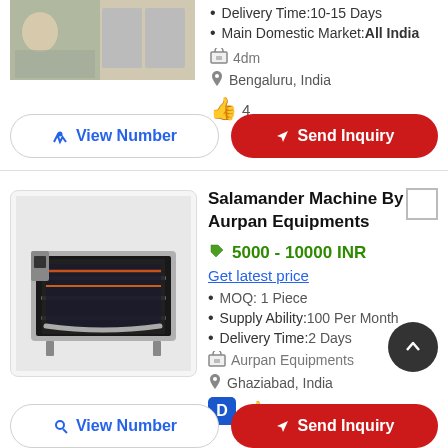Delivery Time:10-15 Days
Main Domestic Market:All India
4dm
Bengaluru, India
4
View Number
Send Inquiry
Salamander Machine By Aurpan Equipments
5000 - 10000 INR
Get latest price
MOQ: 1 Piece
Supply Ability:100 Per Month
Delivery Time:2 Days
Aurpan Equipments
Ghaziabad, India
4
View Number
Send Inquiry